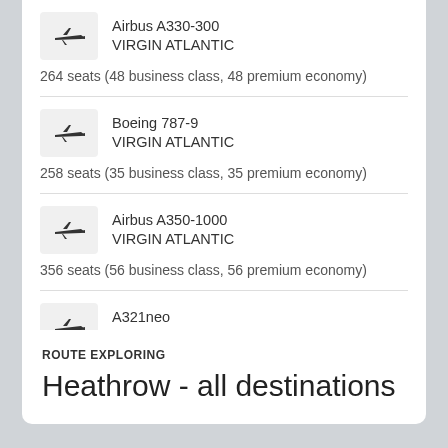Airbus A330-300 VIRGIN ATLANTIC — 264 seats (48 business class, 48 premium economy)
Boeing 787-9 VIRGIN ATLANTIC — 258 seats (35 business class, 35 premium economy)
Airbus A350-1000 VIRGIN ATLANTIC — 356 seats (56 business class, 56 premium economy)
A321neo JETBLUE AIRWAYS — 180 seats
ROUTE EXPLORING
Heathrow - all destinations